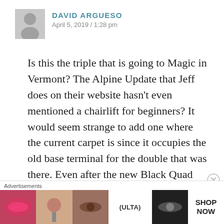DAVID ARGUESO
April 5, 2019 / 1:28 pm
Is this the triple that is going to Magic in Vermont? The Alpine Update that Jeff does on their website hasn't even mentioned a chairlift for beginners? It would seem strange to add one where the current carpet is since it occupies the old base terminal for the double that was there. Even after the new Black Quad lift is installed which is to be a little closer to the base lodge it doesn't much room for it to be
[Figure (other): Advertisement banner for Ulta Beauty with cosmetic product imagery and 'SHOP NOW' call to action]